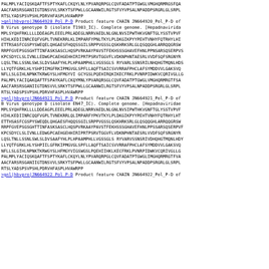PALMPLYACIQSKQAFTFSPTYKAFLCKQYLNLYPVARQRPGLCQVFADATPTGWGLVMGHQRMRGSFQA
AACFARSRSGANIIGTDNSVVLSRKYTSFPWLLGCAANWILRGTSFVYVPSALNPADDPSRGRLGLSRPL
RTSLYADSPSVPSHLPDRVHFASPLHVAWRPP
>gnl|hbvpro|JN664920_Pol_P-D Product feature CHAIN JN664920_Pol_P-D of B Virus genotype D (isolate T1903_IC). Complete genome. [Hepadnavirida
MPLSYQHFRKLLLLDDEAGPLEEELPRLADEGLNRRVAEDLNLGNLNVSIPWTHKVGNFTGLYSSTVPVF
HIHLKEDIINRCEQFVGPLTVNEKRRLKLIMPARFYPNLTKYLPLDKGIKPYYPEHTVNHYFQTRHYLHI
ETTRSASFCGSPYSWEQELQHGAESFHQQSSGILSRPPVGSSLQSKHRKSRLGLQSQQGHLARRQQGRSW
RRPFGVEPSGSGHTTNFASKSASCLHQSPVRKAAYPAVSTFEKHSSSGHAVEFHNLPPNSARSQSERPVS
KPCSDYCLSLIVNLLEDWGPCAEHGEHHIRIPRTPSRVTGGVFLVDKNPHNTAESRLVVDFSQFSRGNYR
LQSLTNLLSSNLSWLSLDVSAAFYHLPLHPAAMPHLLVGSSGLSRYVARLSSNSRILNHQHGTMQNLHDS
LLYQTFGRKLHLYSHPIIMGFRKIPMGVGLSPFLLAQFTSAICSVVRRAFPHCLAFSYMDDVVLGAKSVQ
NFLLSLGIHLNPNKTKRWGYSLHFMGYVIGCYGSLPQEHIRQKIKECFRKLPVNRPIDWKVCQRIVGLLG
PALMPLYACIQAKQAFTFSPAYKAFLCKQYMNLYPVARQRSGLCQVFADATPTGWGLVMGHQRMRGTFSA
AACFARSRSGANIIGTDNSVVLSRKYTSFPWLLGCAANWILRGTSFVYVPSALNPADDPSRGRLGLSRPL
RTSLYADSPSVPSHLPDRVHFASPLHVAWRPP
>gnl|hbvpro|JN664921_Pol_P-D Product feature CHAIN JN664921_Pol_P-D of B Virus genotype D (isolate EN47_IC). Complete genome. [Hepadnaviridae
MPLSYQHFRKLLLLDDEAGPLEEELPRLADEGLNRRVAEDLNLGNLNVSIPWTHKVGNFTGLYSSTVPVF
HIHLKEDIINRCQQFVGPLTVNEKRRLQLIMPARFYPKVTKYLPLDKGIKPYYPEHTVNHYFQTRHYLHT
ETTHSASFCGSPYSWEQDLQHGAESFHQQSSGILSRPPVGSSLQSKHRKSRLGLQSQQGHLARRQQGRSW
RRPFGVEPSGSGHTTNFASKSASCLHQSPVRKAAYPAVSTFEKHSSSGHAVEFHNLPPSSARSQSERPVF
KPCSDYCLSLIVNLLEDWGPCAEHGEHHIRIPRTPSRVTGGVFLVDKNPHNTAESRLVVDFSQFSRGNYR
LQSLTNLLSSNLSWLSLDVSAAFYHLPLHPAAMPHLLVGSSGLSRYVARVSSNSRIVDHQHGTMQNLHDY
LLYQTFGRKLHLYSHPIILGFRKIPMGVGLSPFLLAQFTSAICSVVRRAFPHCLAFSYMDDVVLGAKSVQ
NFLLSLGIHLNPNKTKRWGYSLHFMGYVIGSWGSLPQEHIIHKLKECFRKLPVNRPIDWKVCQRIVGLLG
PALMPLYACIQSKQAFTFSPTYKAFLCKQYLNLYPVARQRPGLCQVFADATPTGWGLIMGHQRMRGTFVA
AACFARSRSGANIIGTDNSVVLSRKYTSFPWLLGCAANWILRGTSFVYVPSALNPADDPSRGRLGLSRPL
RTSLYADSPSVPSHLPDRVHFASPLHVAWRPP
>gnl|hbvpro|JN664922_Pol_P-D Product feature CHAIN JN664922_Pol_P-D of